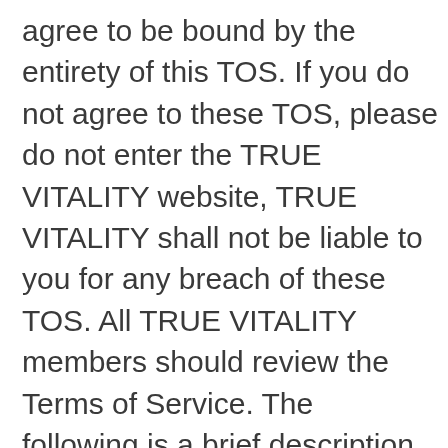agree to be bound by the entirety of this TOS. If you do not agree to these TOS, please do not enter the TRUE VITALITY website, TRUE VITALITY shall not be liable to you for any breach of these TOS. All TRUE VITALITY members should review the Terms of Service. The following is a brief description of the three elements of TOS: 1) The Member Agreement contains the basic legal terms of a